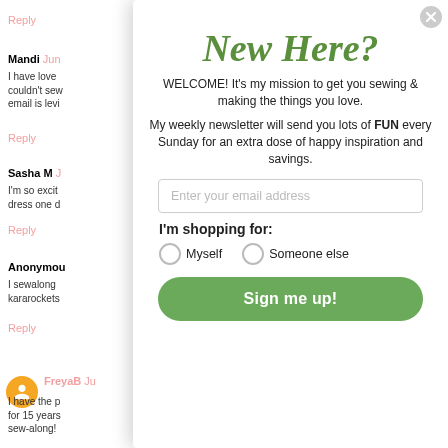Reply
Mandi  Ju...
I have love couldn't sew email is levi
Reply
Sasha M  J...
I'm so excit dress one d
Reply
Anonymou...
I sewalong kararockets
Reply
FreyaB  Ju...
I have the p for 15 years sew-along!
New Here?
WELCOME! It's my mission to get you sewing & making the things you love.
My weekly newsletter will send you lots of FUN every Sunday for an extra dose of happy inspiration and savings.
Enter your email address
I'm shopping for:
Myself   Someone else
Sign me up!